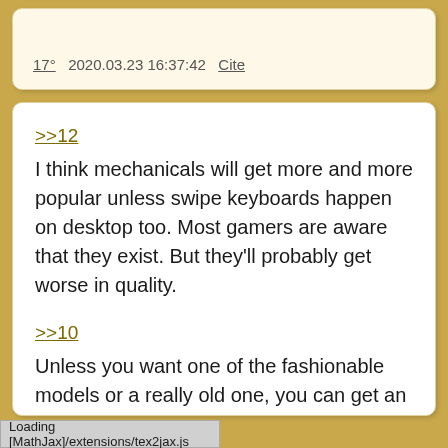17° 2020.03.23 16:37:42 Cite
>>12
I think mechanicals will get more and more popular unless swipe keyboards happen on desktop too. Most gamers are aware that they exist. But they'll probably get worse in quality.
>>10
Unless you want one of the fashionable models or a really old one, you can get an electric one for dirt cheap. You don't want a fully mechanical one as they're very different to type on than computer keyboards.
Loading [MathJax]/extensions/tex2jax.js